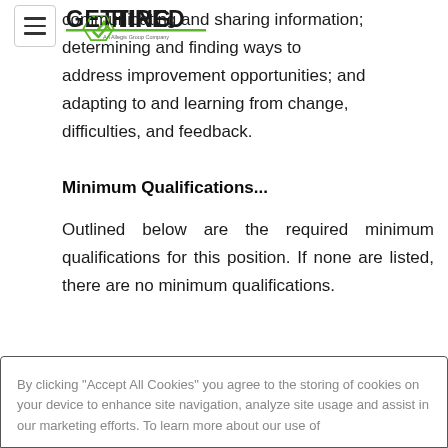[Figure (logo): Getting Hired logo - An Allegis Group Company, with green checkmark]
communicating and sharing information; determining and finding ways to address improvement opportunities; and adapting to and learning from change, difficulties, and feedback.
Minimum Qualifications...
Outlined below are the required minimum qualifications for this position. If none are listed, there are no minimum qualifications.
By clicking “Accept All Cookies” you agree to the storing of cookies on your device to enhance site navigation, analyze site usage and assist in our marketing efforts. To learn more about our use of